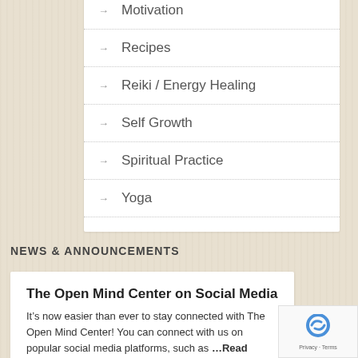Motivation
Recipes
Reiki / Energy Healing
Self Growth
Spiritual Practice
Yoga
NEWS & ANNOUNCEMENTS
The Open Mind Center on Social Media
It’s now easier than ever to stay connected with The Open Mind Center! You can connect with us on popular social media platforms, such as …Read More!